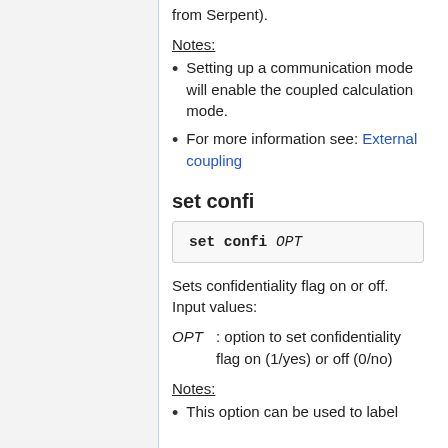from Serpent).
Notes:
Setting up a communication mode will enable the coupled calculation mode.
For more information see: External coupling
set confi
Sets confidentiality flag on or off. Input values:
OPT : option to set confidentiality flag on (1/yes) or off (0/no)
Notes:
This option can be used to label